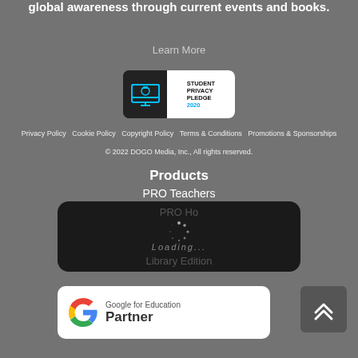global awareness through current events and books.
Learn More
[Figure (logo): Student Privacy Pledge 2020 badge — black background with cyan laptop icon on left, white panel on right with 'STUDENT PRIVACY PLEDGE 2020' text]
Privacy Policy   Cookie Policy   Copyright Policy   Terms & Conditions   Promotions & Sponsorships
© 2022 DOGO Media, Inc., All rights reserved.
Products
PRO Teachers
PRO Homeschool
Workbooks
Library Edition
[Figure (screenshot): Loading spinner overlay on dark rounded box showing PRO Homeschool, Workbooks, Library Edition with Loading... text]
[Figure (logo): Google for Education Partner badge — white rounded rectangle with Google G logo and 'Google for Education Partner' text]
[Figure (other): Up arrow navigation button — dark grey square with double chevron up arrow icon]